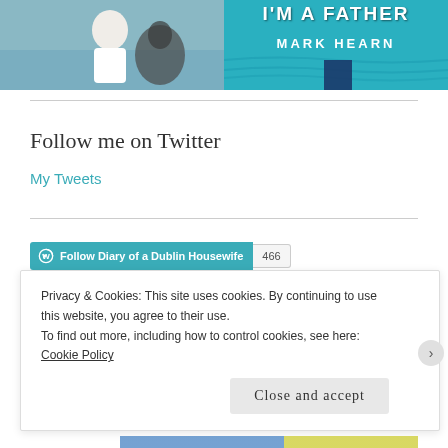[Figure (photo): Left: photo of a man in white shirt near a fountain with sculpture. Right: book cover with teal water background, text 'I'M A FATHER' and 'MARK HEARN'.]
Follow me on Twitter
My Tweets
[Figure (other): WordPress Follow button reading 'Follow Diary of a Dublin Housewife' with follower count badge showing 466.]
Privacy & Cookies: This site uses cookies. By continuing to use this website, you agree to their use.
To find out more, including how to control cookies, see here: Cookie Policy
Close and accept